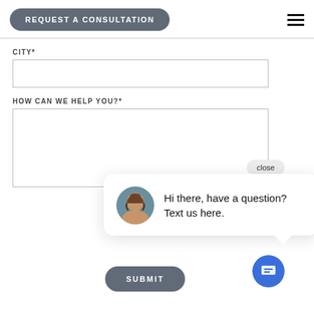REQUEST A CONSULTATION
CITY*
HOW CAN WE HELP YOU?*
[Figure (screenshot): Chat popup with avatar image of a woman and text: Hi there, have a question? Text us here. Close button visible. Blue chat bubble icon in bottom right.]
close
Hi there, have a question? Text us here.
SUBMIT